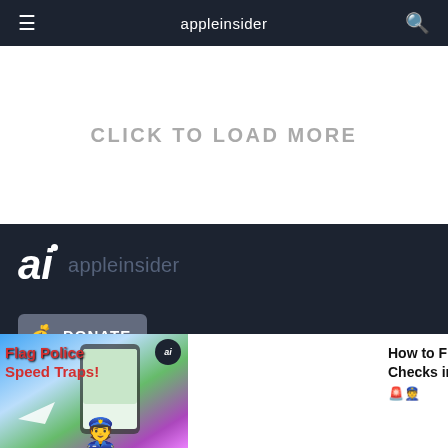appleinsider
CLICK TO LOAD MORE
[Figure (logo): AppleInsider 'ai' logo with site name in dark footer]
DONATE
[Figure (screenshot): Video ad thumbnail showing 'Flag Police Speed Traps!' with phone and police emoji, with AppleInsider badge overlay]
How to Flag Police Speed Checks in Apple Maps! 🚨👮